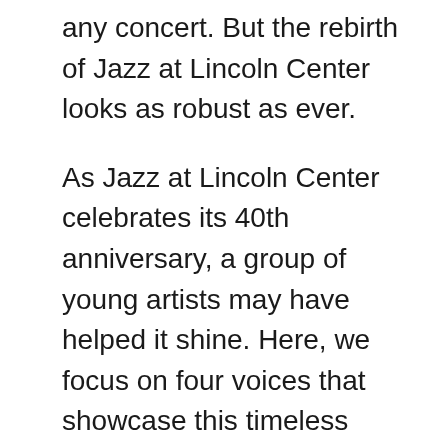any concert. But the rebirth of Jazz at Lincoln Center looks as robust as ever.
As Jazz at Lincoln Center celebrates its 40th anniversary, a group of young artists may have helped it shine. Here, we focus on four voices that showcase this timeless genre and its purposeful evolution.
‘Backyard Sessions’: DeAndre Stokes, saxophone
DeAndre Stokes grew up with a lineage of jazz musicians, including Wynton Marsalis and Terence T...